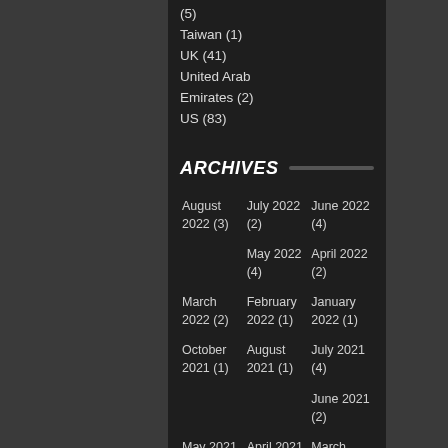(5)
Taiwan (1)
UK (41)
United Arab Emirates (2)
US (83)
ARCHIVES
August 2022 (3)
July 2022 (2)
June 2022 (4)
May 2022 (4)
April 2022 (2)
March 2022 (2)
February 2022 (1)
January 2022 (1)
October 2021 (1)
August 2021 (1)
July 2021 (4)
June 2021 (2)
May 2021 (1)
April 2021 (1)
March 2021 (1)
February 2021 (2)
January 2021 (1)
December 2020 (1)